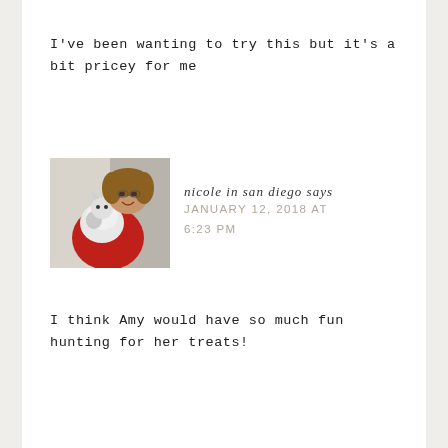I've been wanting to try this but it's a bit pricey for me
[Figure (photo): Woman in red jacket holding a white and grey cat, smiling at the camera, indoor setting]
nicole in san diego says
JANUARY 12, 2018 AT 6:23 PM
I think Amy would have so much fun hunting for her treats!